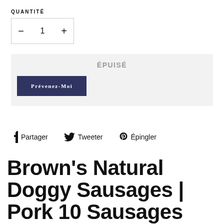QUANTITÉ
- 1 +
Épuisé
Prévenez-moi
f  Partager    🐦  Tweeter    ℗  Épingler
Brown's Natural Doggy Sausages | Pork 10 Sausages